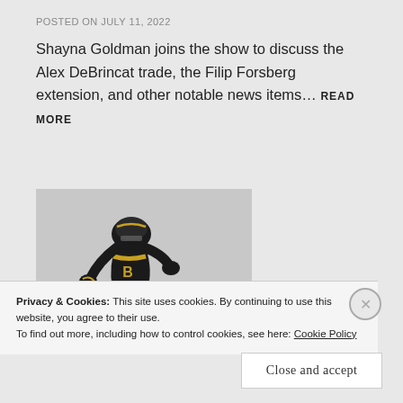POSTED ON JULY 11, 2022
Shayna Goldman joins the show to discuss the Alex DeBrincat trade, the Filip Forsberg extension, and other notable news items… READ MORE
[Figure (photo): Hockey player in black and gold uniform skating on ice, viewed from above at an angle]
Privacy & Cookies: This site uses cookies. By continuing to use this website, you agree to their use.
To find out more, including how to control cookies, see here: Cookie Policy
Close and accept